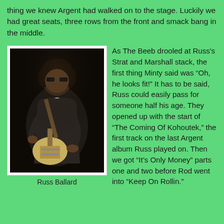thing we knew Argent had walked on to the stage. Luckily we had great seats, three rows from the front and smack bang in the middle.
[Figure (photo): Photo of Russ Ballard playing a Fender Stratocaster guitar on stage, wearing dark jacket and sunglasses, looking down at guitar.]
Russ Ballard
As The Beeb drooled at Russ's Strat and Marshall stack, the first thing Minty said was “Oh, he looks fit!” It has to be said, Russ could easily pass for someone half his age. They opened up with the start of “The Coming Of Kohoutek,” the first track on the last Argent album Russ played on. Then we got “It’s Only Money” parts one and two before Rod went into “Keep On Rollin.”